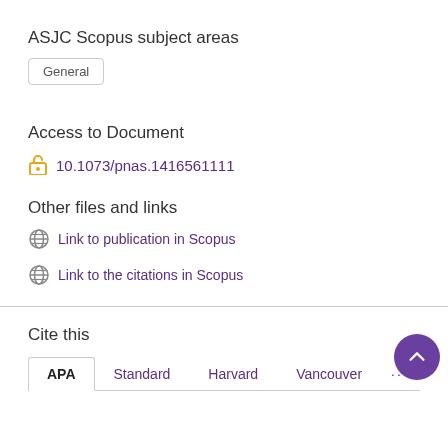ASJC Scopus subject areas
General
Access to Document
10.1073/pnas.1416561111
Other files and links
Link to publication in Scopus
Link to the citations in Scopus
Cite this
APA  Standard  Harvard  Vancouver  ...